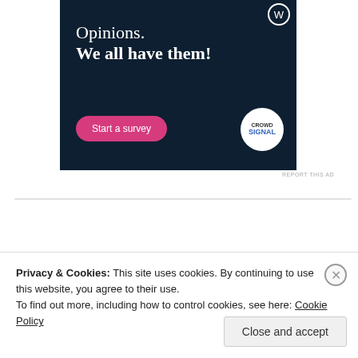[Figure (infographic): Advertisement banner with dark navy background. Text reads 'Opinions. We all have them!' with a pink 'Start a survey' button and a CrowdSignal logo circle on the right.]
REPORT THIS AD
Dreamy Parakeet
Privacy & Cookies: This site uses cookies. By continuing to use this website, you agree to their use. To find out more, including how to control cookies, see here: Cookie Policy
Close and accept